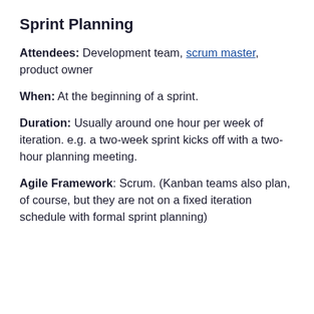Sprint Planning
Attendees: Development team, scrum master, product owner
When: At the beginning of a sprint.
Duration: Usually around one hour per week of iteration. e.g. a two-week sprint kicks off with a two-hour planning meeting.
Agile Framework: Scrum. (Kanban teams also plan, of course, but they are not on a fixed iteration schedule with formal sprint planning)